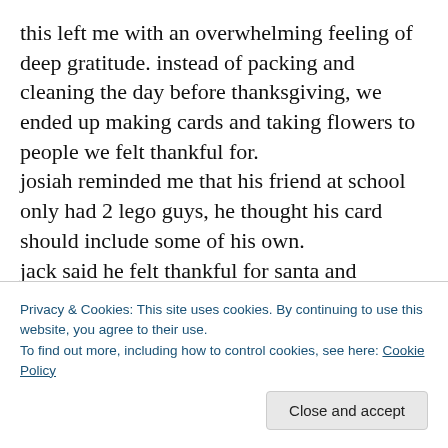this left me with an overwhelming feeling of deep gratitude. instead of packing and cleaning the day before thanksgiving, we ended up making cards and taking flowers to people we felt thankful for. josiah reminded me that his friend at school only had 2 lego guys, he thought his card should include some of his own. jack said he felt thankful for santa and proceeded to make him a card complete with the famous hand print turkey art. he wanted to deliver it right away. i knew we had to
Privacy & Cookies: This site uses cookies. By continuing to use this website, you agree to their use. To find out more, including how to control cookies, see here: Cookie Policy
I tell you all this because we have everything we could